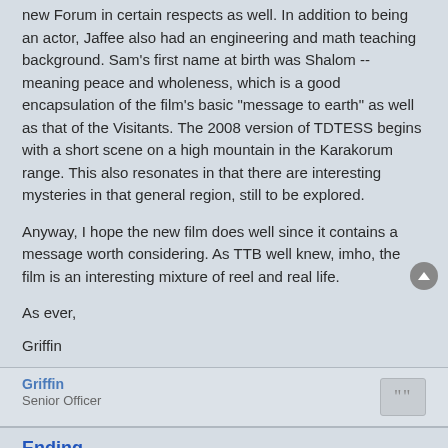new Forum in certain respects as well. In addition to being an actor, Jaffee also had an engineering and math teaching background. Sam's first name at birth was Shalom -- meaning peace and wholeness, which is a good encapsulation of the film's basic "message to earth" as well as that of the Visitants. The 2008 version of TDTESS begins with a short scene on a high mountain in the Karakorum range. This also resonates in that there are interesting mysteries in that general region, still to be explored.
Anyway, I hope the new film does well since it contains a message worth considering. As TTB well knew, imho, the film is an interesting mixture of reel and real life.
As ever,
Griffin
Griffin
Senior Officer
Ending
Sun Dec 14, 2008 1:21 am
Further…
The original film's ending, on a clearly ambiguous note of hope without